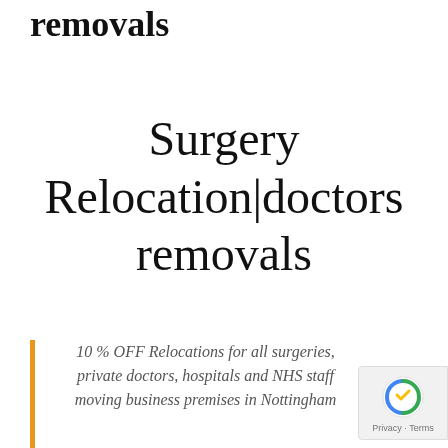Surgery Relocation|doctors removals
Surgery Relocation|doctors removals
10 % OFF Relocations for all surgeries, private doctors, hospitals and NHS staff moving business premises in Nottingham